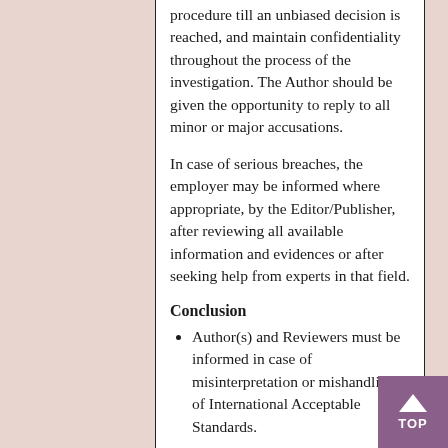procedure till an unbiased decision is reached, and maintain confidentiality throughout the process of the investigation. The Author should be given the opportunity to reply to all minor or major accusations.
In case of serious breaches, the employer may be informed where appropriate, by the Editor/Publisher, after reviewing all available information and evidences or after seeking help from experts in that field.
Conclusion
Author(s) and Reviewers must be informed in case of misinterpretation or mishandling of International Acceptable Standards.
A strict notice should be sent to the author and reviewer to avoid future unethical misconduct.
An Editorial on the reported misconduct should be published or official notice of unethical behavior should be posted on